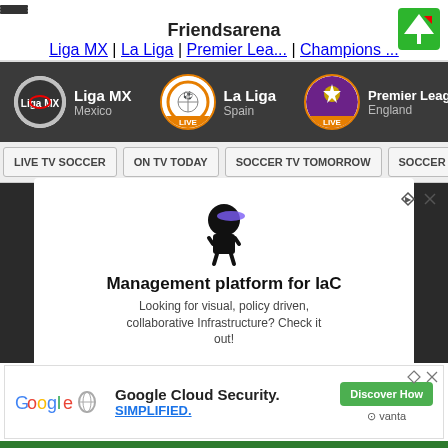Friendsarena
Liga MX | La Liga | Premier Lea... | Champions ...
[Figure (screenshot): League navigation bar showing Liga MX (Mexico), La Liga (Spain, LIVE), Premier League (England, LIVE), Champions League (partial)]
LIVE TV SOCCER | ON TV TODAY | SOCCER TV TOMORROW | SOCCER STREAMS
[Figure (screenshot): Advertisement: Management platform for IaC. Looking for visual, policy driven, collaborative Infrastructure? Check it out!]
[Figure (screenshot): Google Cloud Security. SIMPLIFIED. Discover How - vanta]
[Figure (screenshot): Team logo bar showing FC Barcelona, Real Madrid (22:00), Bayern Munich, PSG, Ajax, Borussia Dortmund (VIDEO), Juventus, AC Milan, AS Roma (partial)]